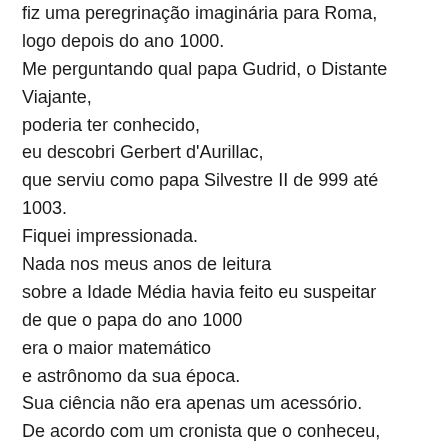fiz uma peregrinação imaginária para Roma, logo depois do ano 1000. Me perguntando qual papa Gudrid, o Distante Viajante, poderia ter conhecido, eu descobri Gerbert d'Aurillac, que serviu como papa Silvestre II de 999 até 1003. Fiquei impressionada. Nada nos meus anos de leitura sobre a Idade Média havia feito eu suspeitar de que o papa do ano 1000 era o maior matemático e astrônomo da sua época. Sua ciência não era apenas um acessório. De acordo com um cronista que o conheceu, ele foi de uma origem humilde para o maior cargo da Igreja Católica por causa do seu conhecimento científico. Foi como se eu tivesse descoberto um universo paralelo